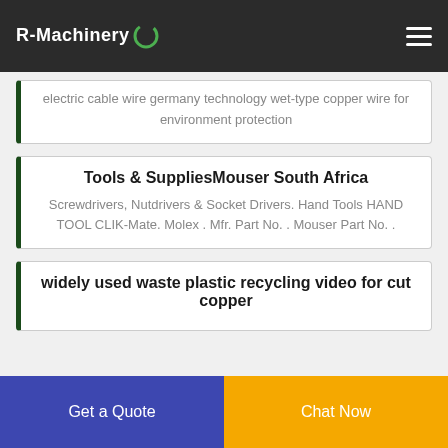R-Machinery
electric cable wire germany technology wet-type copper wire for environment protection
Tools & SuppliesMouser South Africa
Screwdrivers, Nutdrivers & Socket Drivers. Hand Tools HAND TOOL CLIK-Mate. Molex . Mfr. Part No. . Mouser Part No. .
widely used waste plastic recycling video for cut copper
Get a Quote
Chat Now